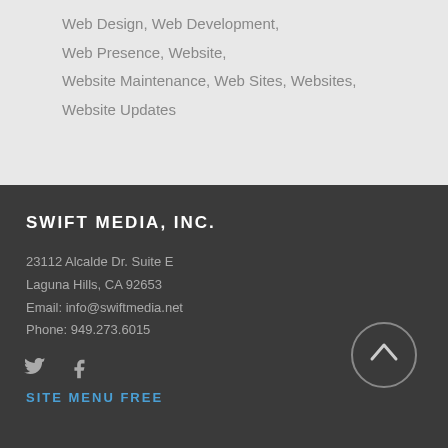Web Design, Web Development,
Web Presence, Website,
Website Maintenance, Web Sites, Websites,
Website Updates
SWIFT MEDIA, INC.
23112 Alcalde Dr. Suite E
Laguna Hills, CA 92653
Email: info@swiftmedia.net
Phone: 949.273.6015
SITE MENU FREE